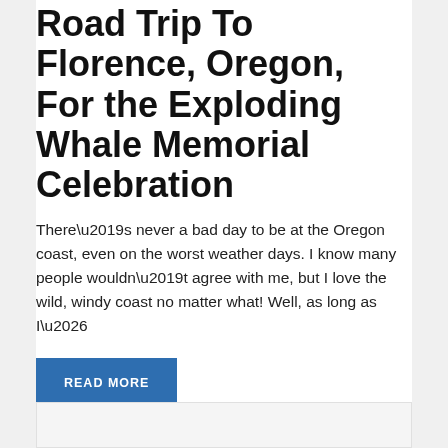Road Trip To Florence, Oregon, For the Exploding Whale Memorial Celebration
There’s never a bad day to be at the Oregon coast, even on the worst weather days. I know many people wouldn’t agree with me, but I love the wild, windy coast no matter what! Well, as long as I…
READ MORE